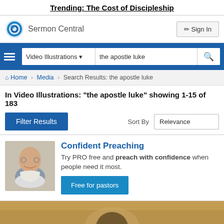Trending: The Cost of Discipleship
[Figure (logo): Sermon Central logo with circular blue icon and text]
Sign In
Video Illustrations ▾   the apostle luke  🔍
Home > Media > Search Results: the apostle luke
In Video Illustrations: "the apostle luke" showing 1-15 of 183
Filter Results
Sort By  Relevance
[Figure (photo): Ad card with photo of smiling elderly man with glasses and white beard. Text: Confident Preaching - Try PRO free and preach with confidence when people need it most. Free for pastors button.]
[Figure (photo): Bottom partial image showing religious artwork, golden tones]